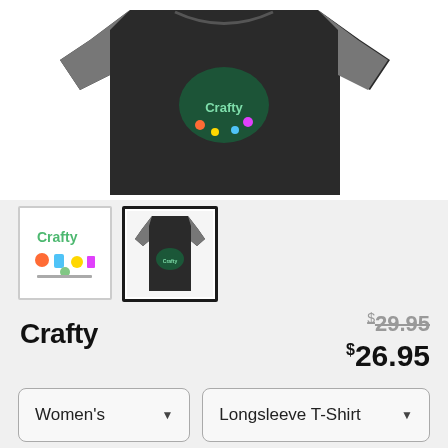[Figure (photo): Product photo of a black raglan longsleeve t-shirt with gray sleeves and a colorful 'Crafty' graphic on the chest]
[Figure (photo): Thumbnail 1: colorful Crafty graphic/logo with craft supply characters]
[Figure (photo): Thumbnail 2 (selected): black raglan longsleeve t-shirt with Crafty graphic]
Crafty
$29.95 (strikethrough original price) $26.95 (sale price)
Women's (dropdown) | Longsleeve T-Shirt (dropdown)
SELECT YOUR FIT